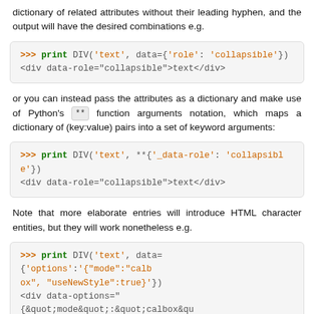dictionary of related attributes without their leading hyphen, and the output will have the desired combinations e.g.
[Figure (screenshot): Code block showing: >>> print DIV('text', data={'role': 'collapsible'}) and output <div data-role="collapsible">text</div>]
or you can instead pass the attributes as a dictionary and make use of Python's ** function arguments notation, which maps a dictionary of (key:value) pairs into a set of keyword arguments:
[Figure (screenshot): Code block showing: >>> print DIV('text', **{'_data-role': 'collapsible'}) and output <div data-role="collapsible">text</div>]
Note that more elaborate entries will introduce HTML character entities, but they will work nonetheless e.g.
[Figure (screenshot): Code block showing: >>> print DIV('text', data={'options':'{"mode":"calbox", "useNewStyle":true}'})
and output <div data-options="{&quot;mode&quot;:&quot;calbox&quot;, &quot;useNewStyle&quot;:true}">text</div>]